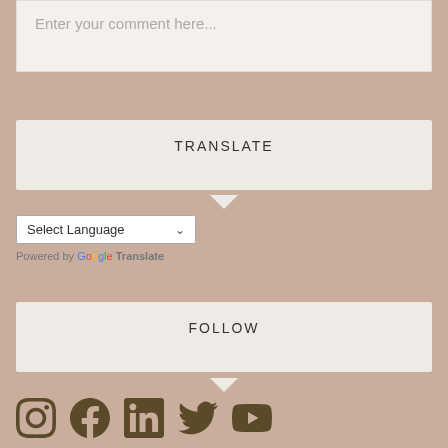Enter your comment here...
TRANSLATE
Select Language
Powered by Google Translate
FOLLOW
[Figure (infographic): Social media icons: Instagram, Facebook, LinkedIn, Twitter, YouTube]